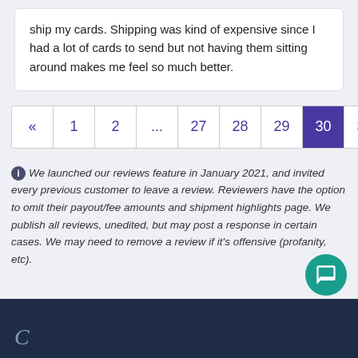ship my cards. Shipping was kind of expensive since I had a lot of cards to send but not having them sitting around makes me feel so much better.
« 1 2 ... 27 28 29 30 31 32 33
We launched our reviews feature in January 2021, and invited every previous customer to leave a review. Reviewers have the option to omit their payout/fee amounts and shipment highlights page. We publish all reviews, unedited, but may post a response in certain cases. We may need to remove a review if it's offensive (profanity, etc).
C